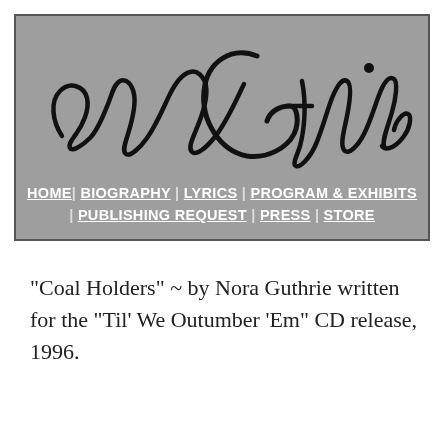[Figure (logo): Woody Guthrie cursive signature logo on grey background]
HOME | BIOGRAPHY | LYRICS | PROGRAM & EXHIBITS | PUBLISHING REQUEST | PRESS | STORE
"Coal Holders" ~ by Nora Guthrie written for the "Til' We Outumber 'Em" CD release, 1996.